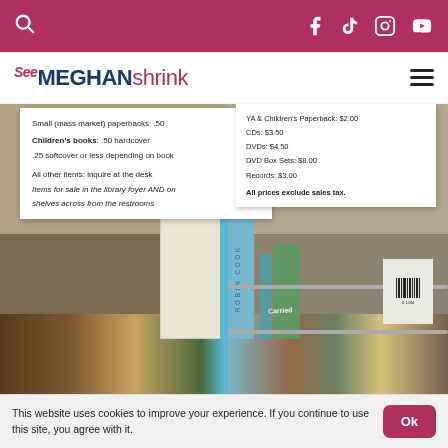SeeMEGHANshrink — navigation bar with search, Facebook, TikTok, Instagram, YouTube icons
[Figure (photo): Photo of library book sale price signs and bookshelf with books including Robin Cook title visible]
Small (mass market) paperbacks: .50
Children's books: .50 hardcover
.25 softcover or less depending on book
All other items: inquire at the desk
Items for sale in the library foyer AND on shelves across from the restrooms
YA & Children's Paperback: $2.00
CDs: $3.50
DVDs: $4.50
DVD Box Sets: $8.00
Records: $3.00
All prices exclude sales tax.
This website uses cookies to improve your experience. If you continue to use this site, you agree with it.